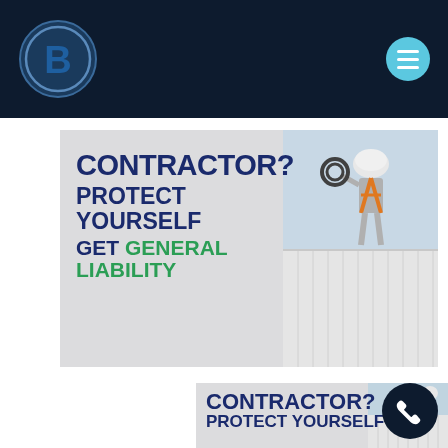[Figure (logo): B letter logo in a circle with blue and dark navy colors]
[Figure (infographic): Insurance advertisement banner showing a contractor worker on a roof with text: CONTRACTOR? PROTECT YOURSELF GET GENERAL LIABILITY]
[Figure (infographic): Partial second banner showing CONTRACTOR? PROTECT YOURSELF text with a phone icon circle and worker image]